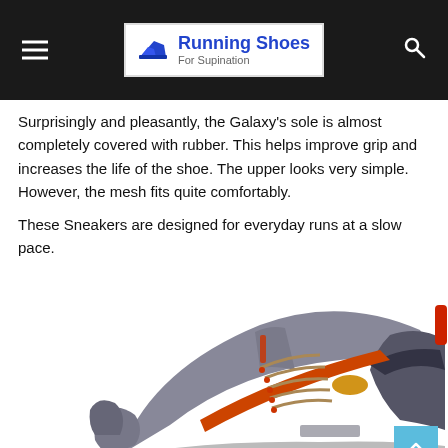Running Shoes For Supination
Surprisingly and pleasantly, the Galaxy's sole is almost completely covered with rubber. This helps improve grip and increases the life of the shoe. The upper looks very simple. However, the mesh fits quite comfortably.
These Sneakers are designed for everyday runs at a slow pace.
[Figure (photo): Gray and orange trail running shoe (Altra) photographed from the side, showing mesh upper with orange laces and orange accents, trail outsole with orange lugs, and a red heel pull tab.]